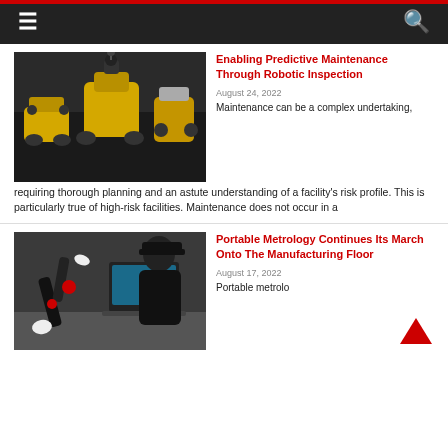≡  🔍
[Figure (photo): Group of yellow and black industrial inspection robots, including wheeled and quadruped robots, against a dark background]
Enabling Predictive Maintenance Through Robotic Inspection
August 24, 2022
Maintenance can be a complex undertaking, requiring thorough planning and an astute understanding of a facility's risk profile. This is particularly true of high-risk facilities. Maintenance does not occur in a
[Figure (photo): Person wearing black cap and shirt using a portable coordinate measuring arm (metrology device) next to a laptop on a workbench]
Portable Metrology Continues Its March Onto The Manufacturing Floor
August 17, 2022
Portable metrolo